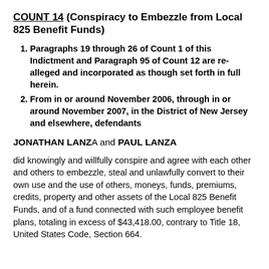COUNT 14 (Conspiracy to Embezzle from Local 825 Benefit Funds)
Paragraphs 19 through 26 of Count 1 of this Indictment and Paragraph 95 of Count 12 are re-alleged and incorporated as though set forth in full herein.
From in or around November 2006, through in or around November 2007, in the District of New Jersey and elsewhere, defendants
JONATHAN LANZA and PAUL LANZA
did knowingly and willfully conspire and agree with each other and others to embezzle, steal and unlawfully convert to their own use and the use of others, moneys, funds, premiums, credits, property and other assets of the Local 825 Benefit Funds, and of a fund connected with such employee benefit plans, totaling in excess of $43,418.00, contrary to Title 18, United States Code, Section 664.